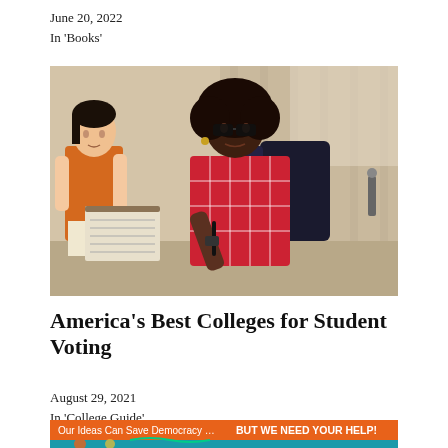June 20, 2022
In 'Books'
[Figure (photo): Two college students outdoors: one woman in an orange tank top holds a clipboard while another woman in a red plaid shirt and backpack signs a document with a pen.]
America's Best Colleges for Student Voting
August 29, 2021
In 'College Guide'
[Figure (infographic): Banner ad reading 'Our Ideas Can Save Democracy ... BUT WE NEED YOUR HELP!' with colorful illustrated graphics below.]